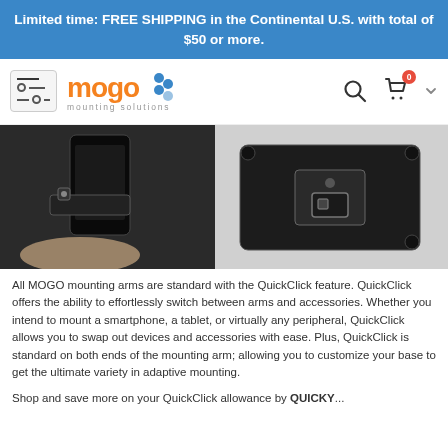Limited time: FREE SHIPPING in the Continental U.S. with total of $50 or more.
[Figure (logo): MOGO mounting solutions logo with orange text and blue dot cluster graphic]
[Figure (photo): Product photo showing MOGO mounting arm with QuickClick feature — a hand holding a mounting bracket with a device attached, shown from two angles]
All MOGO mounting arms are standard with the QuickClick feature. QuickClick offers the ability to effortlessly switch between arms and accessories. Whether you intend to mount a smartphone, a tablet, or virtually any peripheral, QuickClick allows you to swap out devices and accessories with ease. Plus, QuickClick is standard on both ends of the mounting arm; allowing you to customize your base to get the ultimate variety in adaptive mounting.
Shop and save more on your QuickClick allowance by QUICKY...